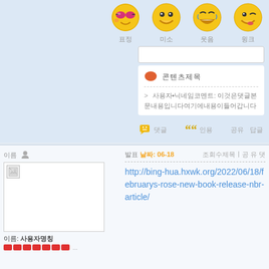[Figure (illustration): Row of four emoji face icons with Chinese labels]
[Figure (screenshot): Comment card with speech bubble icon and Chinese text]
댓글 인용 공유 답글
유저 아이콘
[Figure (photo): User avatar placeholder image (broken image)]
이름: 사용자명
평판 도트
발표 날짜: 06-18
http://bing-hua.hxwk.org/2022/06/18/februarys-rose-new-book-release-nbr-article/